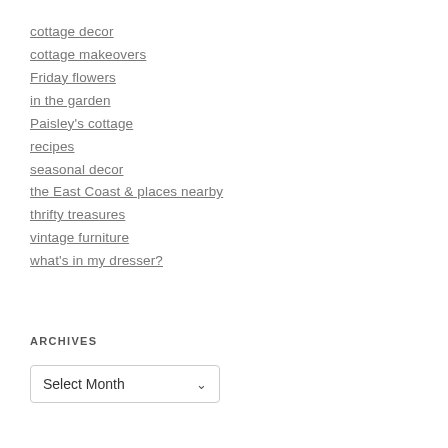cottage decor
cottage makeovers
Friday flowers
in the garden
Paisley's cottage
recipes
seasonal decor
the East Coast & places nearby
thrifty treasures
vintage furniture
what's in my dresser?
ARCHIVES
Select Month